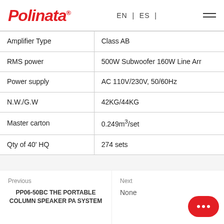Polinata® | EN | ES |
| Attribute | Value |
| --- | --- |
| Amplifier Type | Class AB |
| RMS power | 500W Subwoofer 160W Line Arr |
| Power supply | AC 110V/230V, 50/60Hz |
| N.W./G.W | 42KG/44KG |
| Master carton | 0.249m³/set |
| Qty of 40' HQ | 274 sets |
Previous
PP06-50BC THE PORTABLE COLUMN SPEAKER PA SYSTEM
Next
None